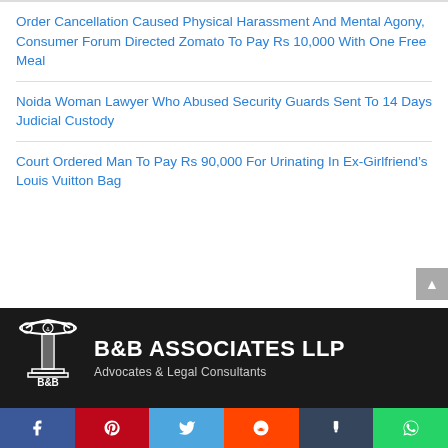Order Cancellation Caused Physical Harassment And Mental Agony, Consumer Forum Directed Zomato To Pay Rs 10,000 With One Free Meal
Noida Woman Lawyer Who Abused Security Guards Sent To 14 Days Judicial Custody
Court Ordered Man To Pay Rs 90,000 For Urinating In Ex-Girlfriend’s Louis Vuitton Bag
[Figure (logo): B&B Associates LLP - Advocates & Legal Consultants banner with pillar logo on dark background]
[Figure (infographic): Social media share buttons: Facebook, Pinterest, Twitter, Reddit, Tumblr, WhatsApp]